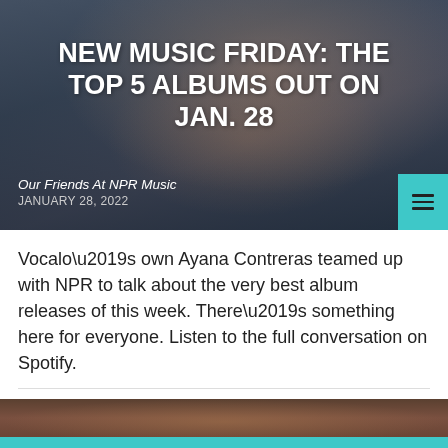[Figure (photo): Hero image of a woman posing with hand near face, wearing jewelry, against a dark blue-gray background. Overlay text shows article title.]
NEW MUSIC FRIDAY: THE TOP 5 ALBUMS OUT ON JAN. 28
Our Friends At NPR Music
JANUARY 28, 2022
Vocalo’s own Ayana Contreras teamed up with NPR to talk about the very best album releases of this week. There’s something here for everyone. Listen to the full conversation on Spotify.
[Figure (photo): Partially visible image at bottom of page, dark warm tones]